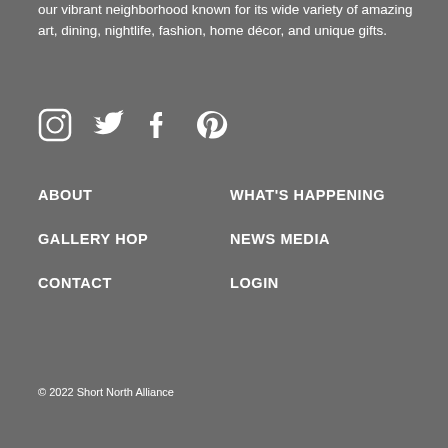our vibrant neighborhood known for its wide variety of amazing art, dining, nightlife, fashion, home décor, and unique gifts.
[Figure (illustration): Four social media icons: Instagram, Twitter, Facebook, Pinterest in white on grey background]
ABOUT
WHAT'S HAPPENING
GALLERY HOP
NEWS MEDIA
CONTACT
LOGIN
© 2022 Short North Alliance